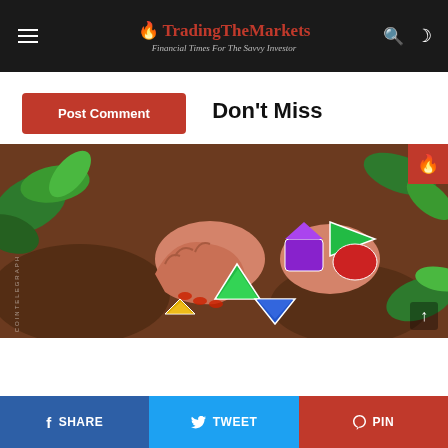🔥 TradingTheMarkets — Financial Times For The Savvy Investor
Post Comment
Don't Miss
[Figure (illustration): Illustrated image of hands picking up colorful gem/crystal shapes (green, purple, blue, red, yellow) from a brown earthy background with green leaves — crypto or asset metaphor illustration]
SHARE   TWEET   PIN